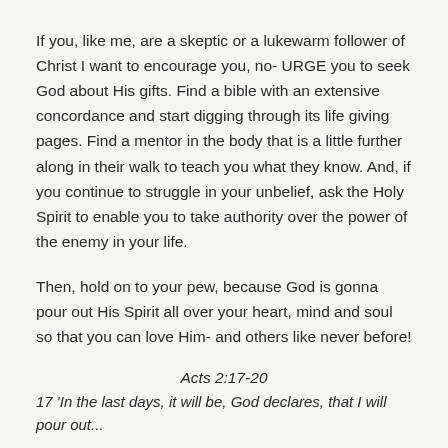If you, like me, are a skeptic or a lukewarm follower of Christ I want to encourage you, no- URGE you to seek God about His gifts. Find a bible with an extensive concordance and start digging through its life giving pages. Find a mentor in the body that is a little further along in their walk to teach you what they know. And, if you continue to struggle in your unbelief, ask the Holy Spirit to enable you to take authority over the power of the enemy in your life.
Then, hold on to your pew, because God is gonna pour out His Spirit all over your heart, mind and soul so that you can love Him- and others like never before!
Acts 2:17-20
17 'In the last days, it will be, God declares, that I will pour out...